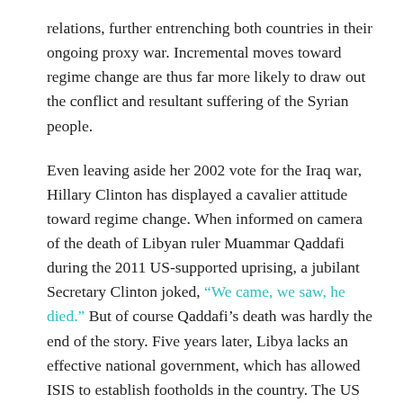relations, further entrenching both countries in their ongoing proxy war. Incremental moves toward regime change are thus far more likely to draw out the conflict and resultant suffering of the Syrian people.
Even leaving aside her 2002 vote for the Iraq war, Hillary Clinton has displayed a cavalier attitude toward regime change. When informed on camera of the death of Libyan ruler Muammar Qaddafi during the 2011 US-supported uprising, a jubilant Secretary Clinton joked, “We came, we saw, he died.” But of course Qaddafi’s death was hardly the end of the story. Five years later, Libya lacks an effective national government, which has allowed ISIS to establish footholds in the country. The US achieved regime change in Libya, but it is hard to see who has benefited apart from terrorists.